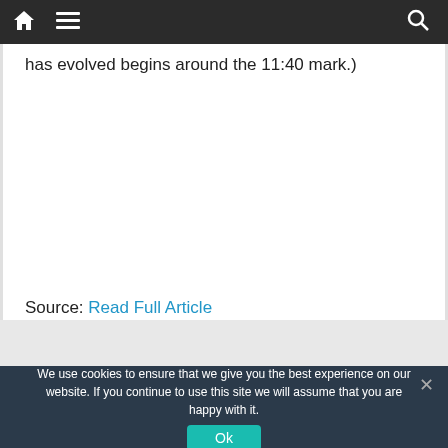Navigation bar with home, menu, and search icons
has evolved begins around the 11:40 mark.)
Source: Read Full Article
Taboola Feed
We use cookies to ensure that we give you the best experience on our website. If you continue to use this site we will assume that you are happy with it.